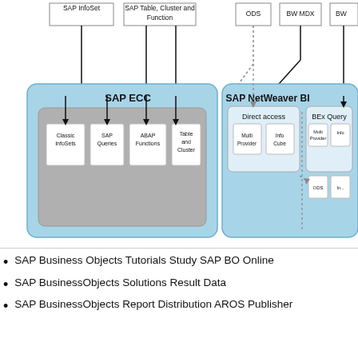[Figure (flowchart): Architecture diagram showing SAP ECC and SAP NetWeaver BI systems. SAP ECC contains Classic InfoSets, SAP Queries, ABAP Functions, Table and Cluster components. SAP NetWeaver BI contains Direct access (MultiProvider, InfoCube) and BEx Query (MultiProvider, Info... ODS, In...) components. Top boxes show: SAP InfoSet, SAP Table Cluster and Function, ODS, BW MDX, BW (partially visible). Arrows connect top boxes down into subsystems.]
SAP Business Objects Tutorials Study SAP BO Online
SAP BusinessObjects Solutions Result Data
SAP BusinessObjects Report Distribution AROS Publisher